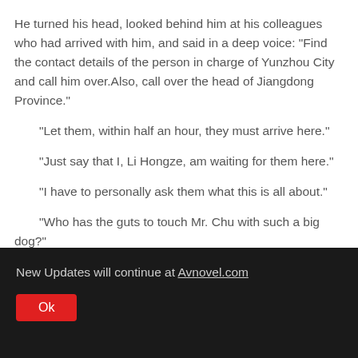He turned his head, looked behind him at his colleagues who had arrived with him, and said in a deep voice: "Find the contact details of the person in charge of Yunzhou City and call him over.Also, call over the head of Jiangdong Province."
"Let them, within half an hour, they must arrive here."
"Just say that I, Li Hongze, am waiting for them here."
"I have to personally ask them what this is all about."
"Who has the guts to touch Mr. Chu with such a big dog?"
New Updates will continue at Avnovel.com
Ok